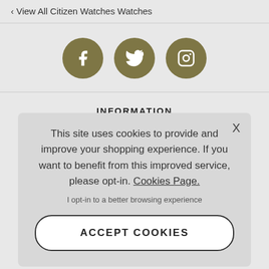‹ View All Citizen Watches Watches
[Figure (infographic): Three circular social media icons (Facebook, Twitter, Instagram) in olive/khaki color]
INFORMATION
Cookie Policy
This site uses cookies to provide and improve your shopping experience. If you want to benefit from this improved service, please opt-in. Cookies Page.

I opt-in to a better browsing experience
ACCEPT COOKIES